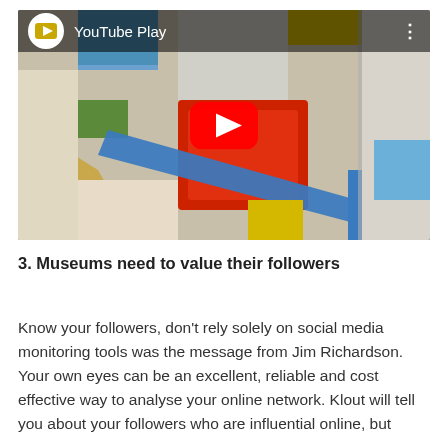[Figure (screenshot): YouTube Play video embed thumbnail showing a 3D colorful block abstract scene with a YouTube play button overlay. Top bar shows YouTube Play branding with logo and three-dot menu.]
3. Museums need to value their followers
Know your followers, don't rely solely on social media monitoring tools was the message from Jim Richardson. Your own eyes can be an excellent, reliable and cost effective way to analyse your online network. Klout will tell you about your followers who are influential online, but